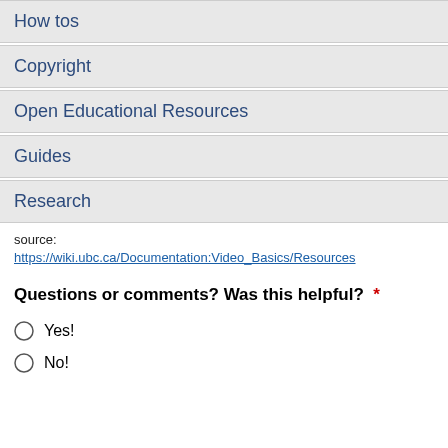How tos
Copyright
Open Educational Resources
Guides
Research
source: https://wiki.ubc.ca/Documentation:Video_Basics/Resources
Questions or comments? Was this helpful? *
Yes!
No!